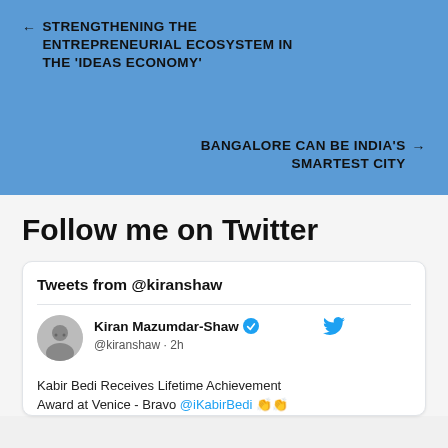← STRENGTHENING THE ENTREPRENEURIAL ECOSYSTEM IN THE 'IDEAS ECONOMY'
BANGALORE CAN BE INDIA'S SMARTEST CITY →
Follow me on Twitter
Tweets from @kiranshaw
Kiran Mazumdar-Shaw @kiranshaw · 2h
Kabir Bedi Receives Lifetime Achievement Award at Venice - Bravo @iKabirBedi 👏👏